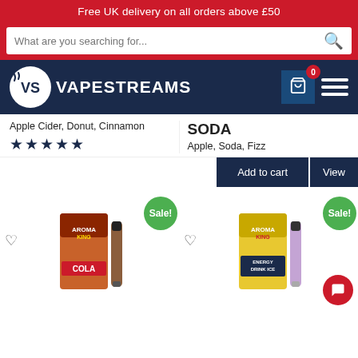Free UK delivery on all orders above £50
[Figure (screenshot): Vapestreams website header with search bar, logo, cart icon and hamburger menu]
Apple Cider, Donut, Cinnamon
★★★★★
SODA
Apple, Soda, Fizz
Add to cart
View
[Figure (photo): Aroma King Cola disposable vape product with Sale badge]
[Figure (photo): Aroma King Energy Drink Ice disposable vape product with Sale badge]